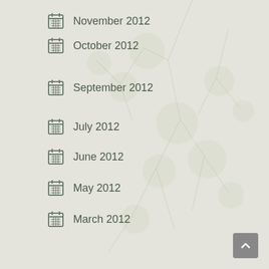November 2012
October 2012
September 2012
July 2012
June 2012
May 2012
March 2012
February 2012
January 2012
December 2011